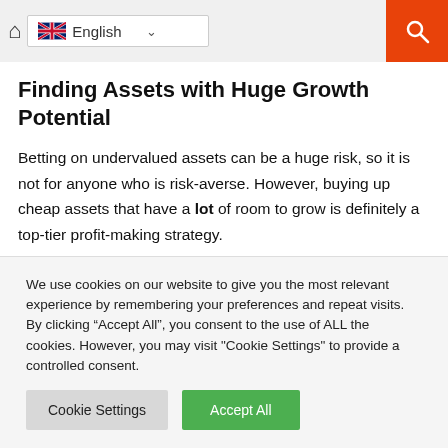English
Finding Assets with Huge Growth Potential
Betting on undervalued assets can be a huge risk, so it is not for anyone who is risk-averse. However, buying up cheap assets that have a lot of room to grow is definitely a top-tier profit-making strategy.
Look for assets that you think have solid plans and the ability
We use cookies on our website to give you the most relevant experience by remembering your preferences and repeat visits. By clicking “Accept All”, you consent to the use of ALL the cookies. However, you may visit "Cookie Settings" to provide a controlled consent.